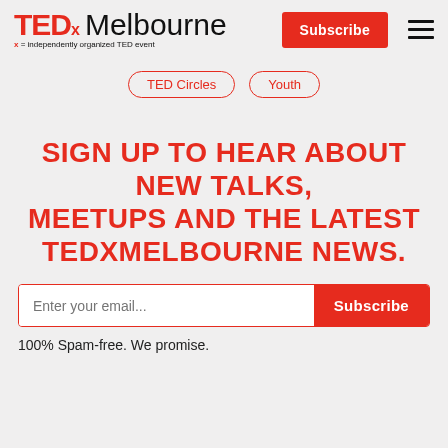TEDx Melbourne — x = independently organized TED event
TED Circles
Youth
SIGN UP TO HEAR ABOUT NEW TALKS, MEETUPS AND THE LATEST TEDXMELBOURNE NEWS.
Enter your email... Subscribe
100% Spam-free. We promise.